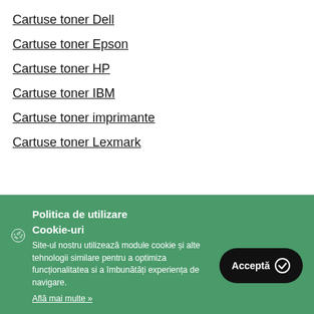Cartuse toner Dell
Cartuse toner Epson
Cartuse toner HP
Cartuse toner IBM
Cartuse toner imprimante
Cartuse toner Lexmark
Politica de utilizare Cookie-uri
Site-ul nostru utilizează module cookie și alte tehnologii similare pentru a optimiza funcționalitatea si a îmbunătăți experiența de navigare.
Află mai multe »